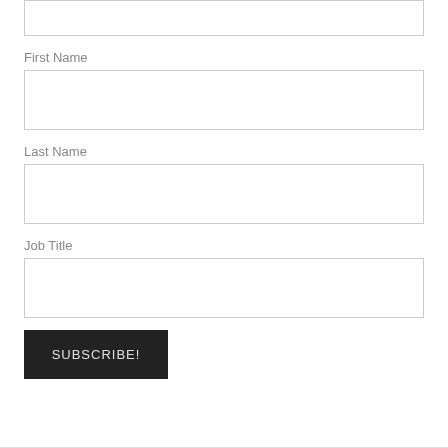First Name
[Figure (other): Empty text input field for First Name]
Last Name
[Figure (other): Empty text input field for Last Name]
Job Title
[Figure (other): Empty text input field for Job Title]
SUBSCRIBE!